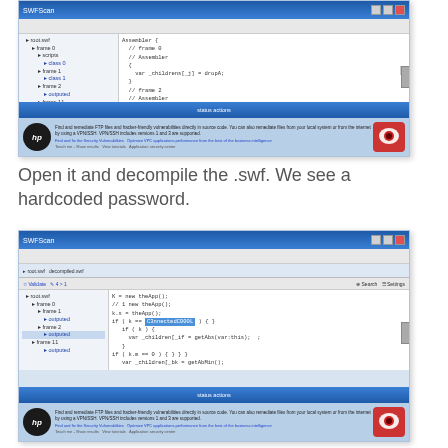[Figure (screenshot): SWFScan application screenshot showing decompiled SWF code in a tree/code view with HP Learning Center footer]
Open it and decompile the .swf. We see a hardcoded password.
[Figure (screenshot): SWFScan application screenshot showing decompiled SWF code with a highlighted hardcoded password string in the code view]